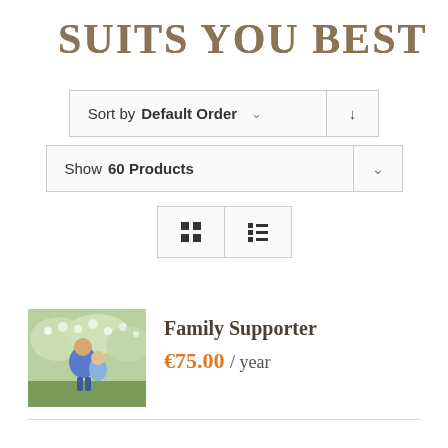SUITS YOU BEST
Sort by Default Order
Show 60 Products
[Figure (screenshot): View toggle buttons: grid view and list view icons]
[Figure (photo): Photo of a person holding a child outdoors in a garden with blossoming trees]
Family Supporter
€75.00 / year